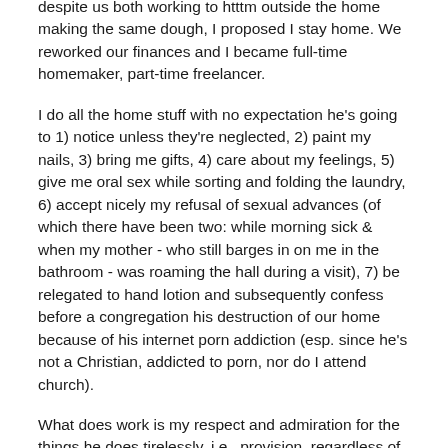despite us both working to htttm outside the home making the same dough, I proposed I stay home. We reworked our finances and I became full-time homemaker, part-time freelancer.
I do all the home stuff with no expectation he's going to 1) notice unless they're neglected, 2) paint my nails, 3) bring me gifts, 4) care about my feelings, 5) give me oral sex while sorting and folding the laundry, 6) accept nicely my refusal of sexual advances (of which there have been two: while morning sick & when my mother - who still barges in on me in the bathroom - was roaming the hall during a visit), 7) be relegated to hand lotion and subsequently confess before a congregation his destruction of our home because of his internet porn addiction (esp. since he's not a Christian, addicted to porn, nor do I attend church).
What does work is my respect and admiration for the things he does tirelessly, i.e., provision, regardless of how he feels or behaves toward me. His care for our (now grown) son fueled my attraction to him so that when he did approach me for sex - regardless of the state of my genitals - I was willing (i.e., made a decision) to participate